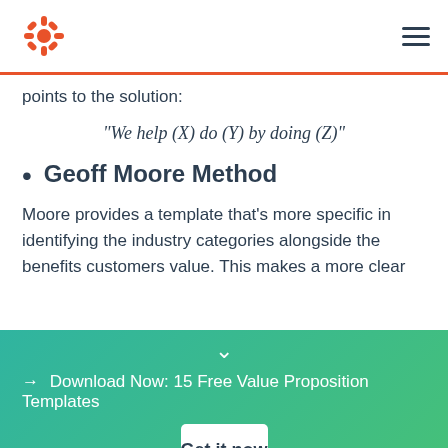HubSpot logo and navigation menu
points to the solution:
“We help (X) do (Y) by doing (Z)”
Geoff Moore Method
Moore provides a template that’s more specific in identifying the industry categories alongside the benefits customers value. This makes a more clear
→ Download Now: 15 Free Value Proposition Templates
Get it now